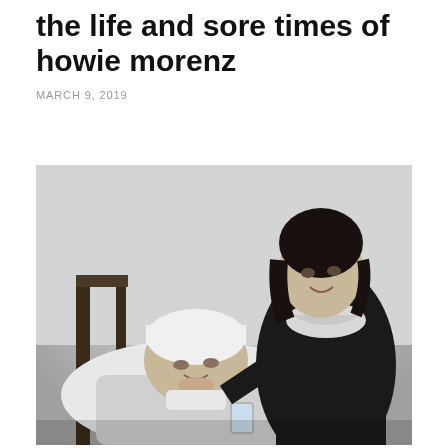the life and sore times of howie morenz
MARCH 9, 2019
[Figure (photo): Black and white photograph of a man lying in a hospital bed wearing a white bandage/cap on his head, looking upward, holding a glass of water. A smiling dark-haired woman leans over him, resting her head near his, wearing a dark dress with white lace/net collar detail.]